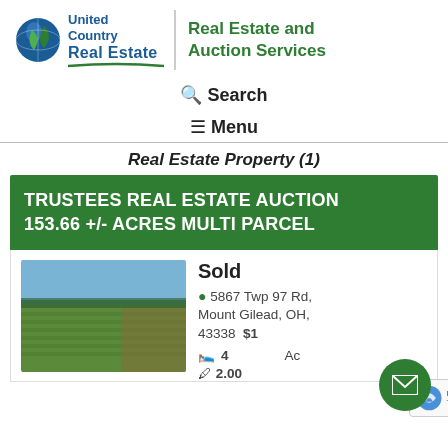[Figure (logo): United Country Real Estate logo with globe icon on left and 'Real Estate and Auction Services' text on right]
🔍 Search
≡ Menu
Real Estate Property (1)
TRUSTEES REAL ESTATE AUCTION 153.66 +/- ACRES MULTI PARCEL
[Figure (photo): Aerial/drone photo of farm fields, green and brown agricultural land]
Sold
📍 5867 Twp 97 Rd, Mount Gilead, OH, 43338  $1[truncated] Ac
🛏 4  B[truncated] Ac
2.00